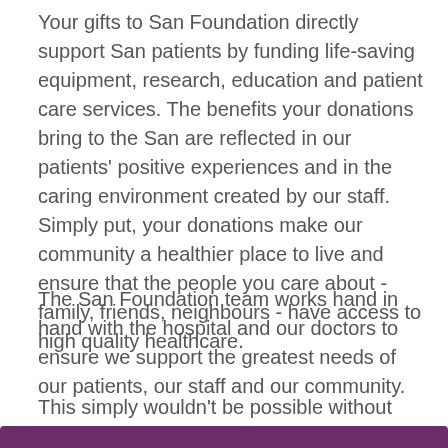Your gifts to San Foundation directly support San patients by funding life-saving equipment, research, education and patient care services. The benefits your donations bring to the San are reflected in our patients' positive experiences and in the caring environment created by our staff. Simply put, your donations make our community a healthier place to live and ensure that the people you care about - family, friends, neighbours - have access to high quality healthcare.
The San Foundation team works hand in hand with the hospital and our doctors to ensure we support the greatest needs of our patients, our staff and our community.
This simply wouldn't be possible without your generosity and support.